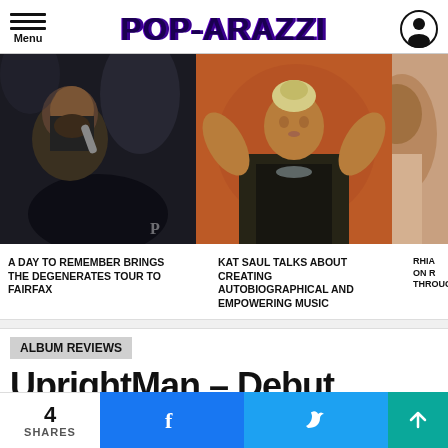POP-ARAZZI
[Figure (photo): Male rapper/singer performing on stage with microphone, dark smoky background]
[Figure (photo): Female artist Kat Saul with hands behind head, orange background, teal/gold outfit]
[Figure (photo): Partial photo of another artist, cropped on right edge]
A DAY TO REMEMBER BRINGS THE DEGENERATES TOUR TO FAIRFAX
KAT SAUL TALKS ABOUT CREATING AUTOBIOGRAPHICAL AND EMPOWERING MUSIC
RHIA ON R THROUGH
ALBUM REVIEWS
UprightMan – Debut Album
4 SHARES